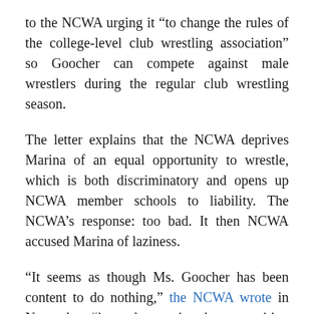to the NCWA urging it “to change the rules of the college-level club wrestling association” so Goocher can compete against male wrestlers during the regular club wrestling season.
The letter explains that the NCWA deprives Marina of an equal opportunity to wrestle, which is both discriminatory and opens up NCWA member schools to liability. The NCWA’s response: too bad. It then NCWA accused Marina of laziness.
“It seems as though Ms. Goocher has been content to do nothing,” the NCWA wrote in November, “instead expecting the competition to come to her, and demanding other individuals they have submitted to build…”